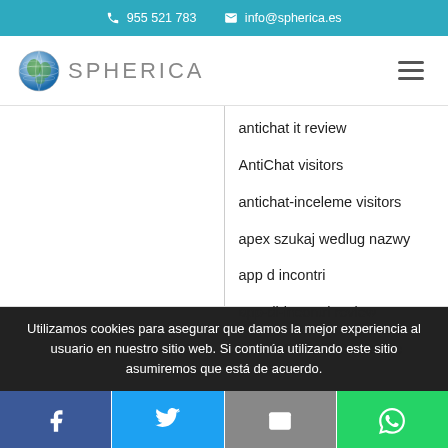📞 955 521 783  ✉ info@spherica.es
[Figure (logo): Spherica globe logo with text SPHERICA and hamburger menu icon]
antichat it review
AntiChat visitors
antichat-inceleme visitors
apex szukaj wedlug nazwy
app d incontri
app-di-incontri review
applications-de-rencontre
Utilizamos cookies para asegurar que damos la mejor experiencia al usuario en nuestro sitio web. Si continúa utilizando este sitio asumiremos que está de acuerdo.
[Figure (infographic): Social share buttons row: Facebook (blue), Twitter (blue), Email (gray), WhatsApp (green)]